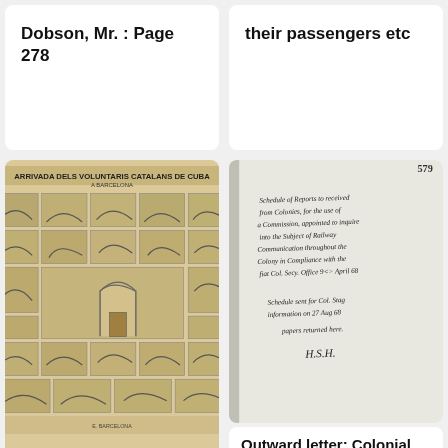Dobson, Mr. : Page 278
their passengers etc
[Figure (illustration): Broadside with 24 scenes showing Catalan soldiers. Title reads 'ARRIVADA DELS VOLUNTARIS CATALANS DE CUBA A BARCELONA'. Contains multiple illustrated panels with scenes of soldiers and celebrations.]
[Figure (photo): Handwritten manuscript page numbered 579. Contains cursive handwriting discussing schedules of reports, a Commission appointed to inquire into Communication, and a note about Col. Stag information on 27 Aug 68. Signed with initials.]
Broadside with 24 scenes showing the Catalan soldiers
Outward letter: Colonial Secretary :